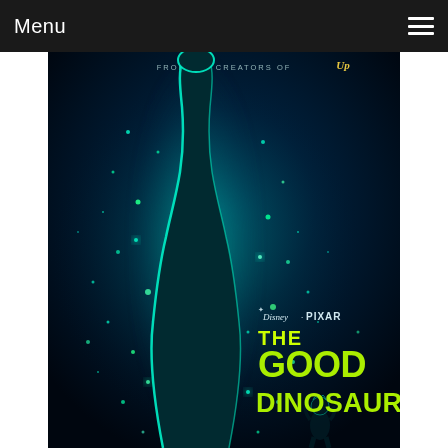Menu
[Figure (illustration): Disney Pixar 'The Good Dinosaur' movie poster showing a large glowing brontosaurus dinosaur silhouetted against a dark blue background with sparkles/bioluminescent particles. A small human child figure stands at the base. Text reads 'FROM THE CREATORS OF Up' at the top, and 'Disney PIXAR THE GOOD DINOSAUR' in green and white text in the lower right.]